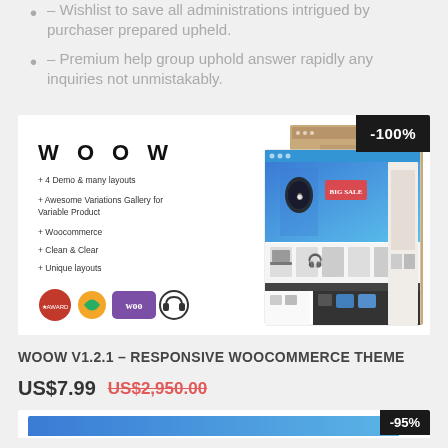- Wishlist to save all administrations intrigued by purchaser prepared upheld.
- Premium help group uphold answer rapidly any inquiries not unmistakably.
[Figure (screenshot): WOOW WooCommerce theme product screenshot showing theme preview with multiple demo layouts, WooCommerce badge, and -100% discount badge]
WOOW V1.2.1 - RESPONSIVE WOOCOMMERCE THEME
US$7.99 US$2,950.00
[Figure (screenshot): Bottom of next product card with -95% badge]